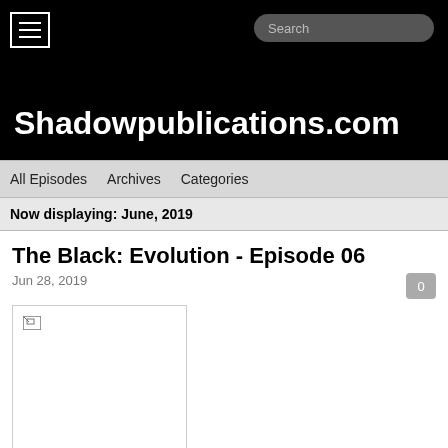Shadowpublications.com
All Episodes   Archives   Categories
Now displaying: June, 2019
The Black: Evolution - Episode 06
Jun 28, 2019
[Figure (photo): Broken image placeholder for episode thumbnail]
New to the series? Start with The Black.